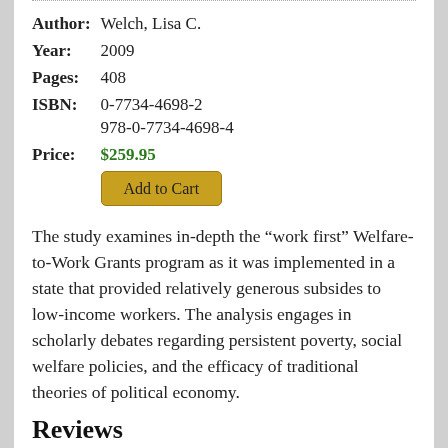| Author: | Welch, Lisa C. |
| Year: | 2009 |
| Pages: | 408 |
| ISBN: | 0-7734-4698-2
978-0-7734-4698-4 |
| Price: | $259.95 |
The study examines in-depth the “work first” Welfare-to-Work Grants program as it was implemented in a state that provided relatively generous subsides to low-income workers. The analysis engages in scholarly debates regarding persistent poverty, social welfare policies, and the efficacy of traditional theories of political economy.
Reviews
“The results of Prof. Welch’s research make